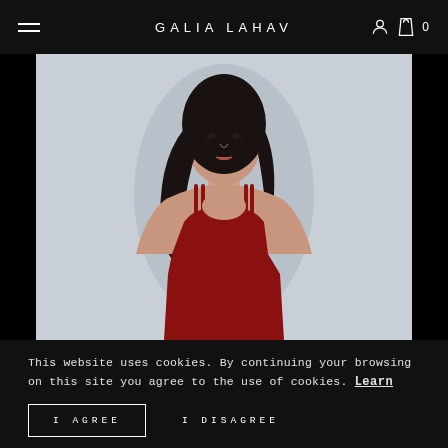GALIA LAHAV
[Figure (photo): Fashion model wearing a red spaghetti-strap evening gown against a light grey background, photographed from the waist up.]
This website uses cookies. By continuing your browsing on this site you agree to the use of cookies. Learn more
I AGREE
I DISAGREE